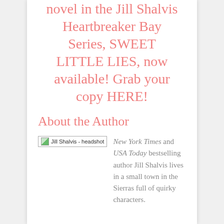novel in the Jill Shalvis Heartbreaker Bay Series, SWEET LITTLE LIES, now available! Grab your copy HERE!
About the Author
[Figure (photo): Jill Shalvis headshot - broken image placeholder]
New York Times and USA Today bestselling author Jill Shalvis lives in a small town in the Sierras full of quirky characters.